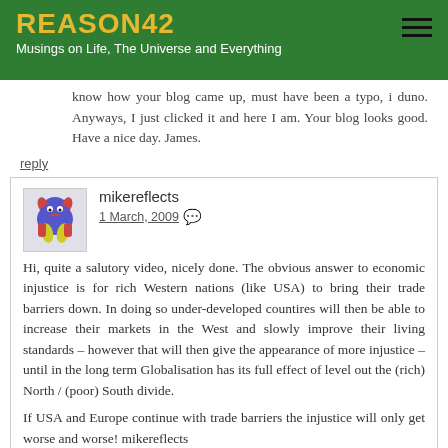REASON42 — Musings on Life, The Universe and Everything
know how your blog came up, must have been a typo, i duno. Anyways, I just clicked it and here I am. Your blog looks good. Have a nice day. James.
reply
mikereflects — 1 March, 2009
Hi, quite a salutory video, nicely done. The obvious answer to economic injustice is for rich Western nations (like USA) to bring their trade barriers down. In doing so under-developed countires will then be able to increase their markets in the West and slowly improve their living standards – however that will then give the appearance of more injustice – until in the long term Globalisation has its full effect of level out the (rich) North / (poor) South divide.
If USA and Europe continue with trade barriers the injustice will only get worse and worse! mikereflects
reply